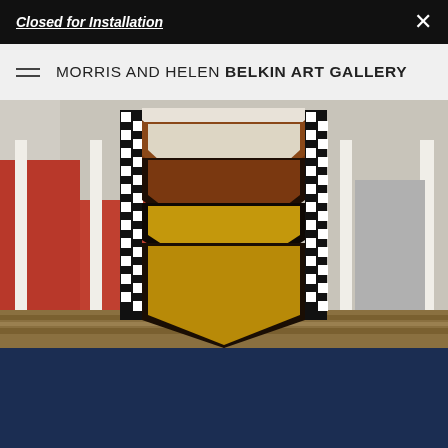Closed for Installation  ×
MORRIS AND HELEN BELKIN ART GALLERY
[Figure (photo): Photograph of a large chevron/zigzag patterned textile or quilt artwork displayed outdoors between white posts. The textile features a bold V-shape pattern in brown/earth tones, black, white, and gold/yellow stripes with a black-and-white checkered border, propped up against a background with red barn structures and dry hay on the ground.]